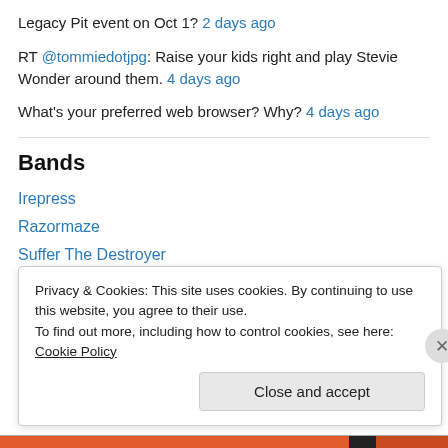Legacy Pit event on Oct 1? 2 days ago
RT @tommiedotjpg: Raise your kids right and play Stevie Wonder around them. 4 days ago
What's your preferred web browser? Why? 4 days ago
Bands
Irepress
Razormaze
Suffer The Destroyer
Privacy & Cookies: This site uses cookies. By continuing to use this website, you agree to their use. To find out more, including how to control cookies, see here: Cookie Policy
Close and accept